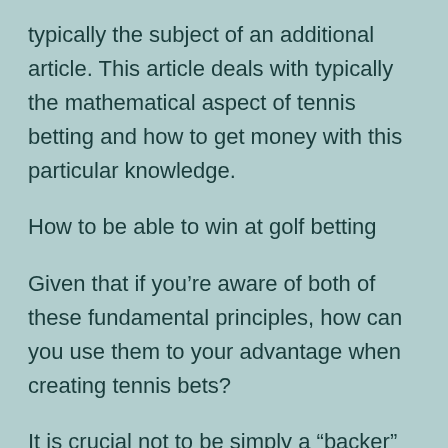typically the subject of an additional article. This article deals with typically the mathematical aspect of tennis betting and how to get money with this particular knowledge.
How to be able to win at golf betting
Given that if you’re aware of both of these fundamental principles, how can you use them to your advantage when creating tennis bets?
It is crucial not to be simply a “backer” or a “layer”, simply betting around the final outcome